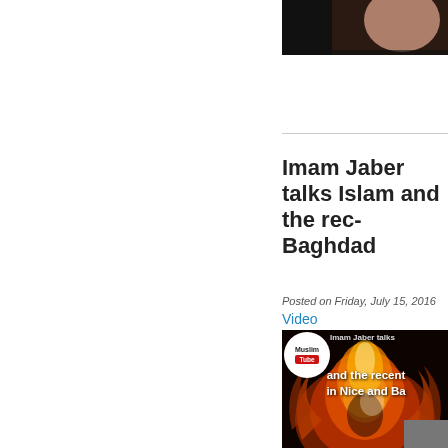[Figure (photo): Partial cropped image at top right, showing a dark background with a person's face/skin tone visible on the right side]
Imam Jaber talks Islam and the rec Baghdad
Posted on Friday, July 15, 2016
Video
[Figure (screenshot): MuslimTube video thumbnail showing flames in orange/red with white bold text reading 'Imam Jaber talk... and the recent... in Nice and Ba...' with a MuslimTube logo badge in the top left corner]